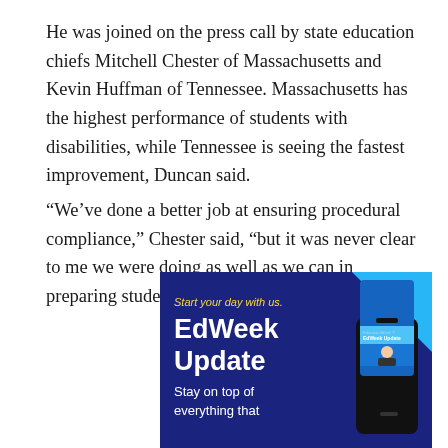He was joined on the press call by state education chiefs Mitchell Chester of Massachusetts and Kevin Huffman of Tennessee. Massachusetts has the highest performance of students with disabilities, while Tennessee is seeing the fastest improvement, Duncan said.
“We’ve done a better job at ensuring procedural compliance,” Chester said, “but it was never clear to me we were doing as well as we can in preparing students well for their future.”
[Figure (infographic): EdWeek Update advertisement banner with dark blue background. Text reads: 'Start your day with us.' in yellow italic, 'EdWeek Update' in large bold white, 'Stay on top of everything that' in white. A smartphone showing the EdWeek Update app is shown on the right side. A light blue triangle decorates the top-right corner.]